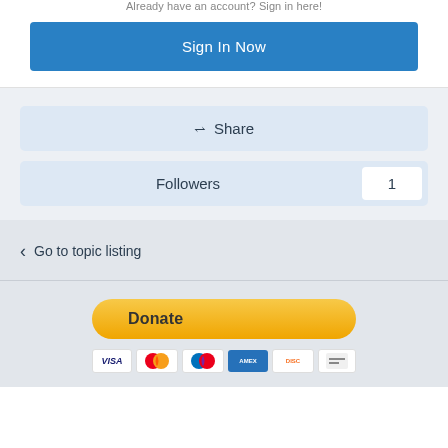Already have an account? Sign in here!
Sign In Now
< Share
Followers 1
< Go to topic listing
[Figure (other): Donate button with PayPal payment icons below (Visa, Mastercard, Maestro, American Express, Discover, and one more card)]